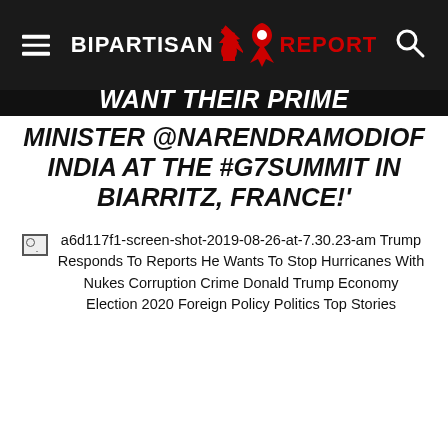BIPARTISAN REPORT
MINISTER @NARENDRAMODIOF INDIA AT THE #G7SUMMIT IN BIARRITZ, FRANCE!'
[Figure (photo): Broken image placeholder with alt text: a6d117f1-screen-shot-2019-08-26-at-7.30.23-am Trump Responds To Reports He Wants To Stop Hurricanes With Nukes Corruption Crime Donald Trump Economy Election 2020 Foreign Policy Politics Top Stories]